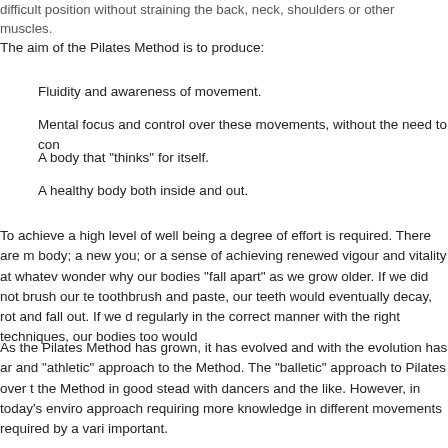difficult position without straining the back, neck, shoulders or other muscles.
The aim of the Pilates Method is to produce:
Fluidity and awareness of movement.
Mental focus and control over these movements, without the need to con
A body that "thinks" for itself.
A healthy body both inside and out.
To achieve a high level of well being a degree of effort is required. There are m body; a new you; or a sense of achieving renewed vigour and vitality at whatev wonder why our bodies "fall apart" as we grow older. If we did not brush our te toothbrush and paste, our teeth would eventually decay, rot and fall out. If we d regularly in the correct manner with the right techniques, our bodies too would
As the Pilates Method has grown, it has evolved and with the evolution has ar and "athletic" approach to the Method. The "balletic" approach to Pilates over t the Method in good stead with dancers and the like. However, in today's enviro approach requiring more knowledge in different movements required by a vari important.